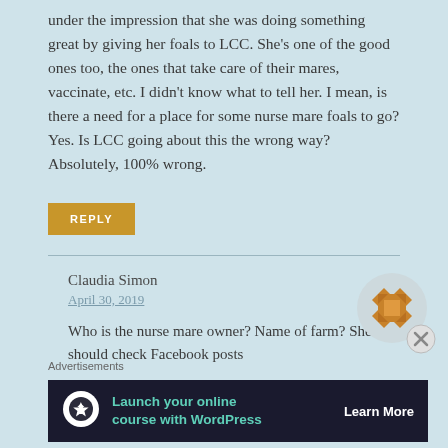under the impression that she was doing something great by giving her foals to LCC. She's one of the good ones too, the ones that take care of their mares, vaccinate, etc. I didn't know what to tell her. I mean, is there a need for a place for some nurse mare foals to go? Yes. Is LCC going about this the wrong way? Absolutely, 100% wrong.
REPLY
Claudia Simon
April 30, 2019
Who is the nurse mare owner? Name of farm? She should check Facebook posts
Advertisements
Launch your online course with WordPress Learn More